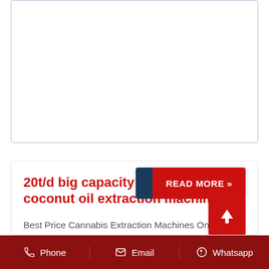[Figure (other): Empty white card with rounded border at top of page]
20t/d big capacity best sale coconut oil extraction machine
Best Price Cannabis Extraction Machines On The Market · Green The Super C Extractor is definitely...
Phone  Email  Whatsapp